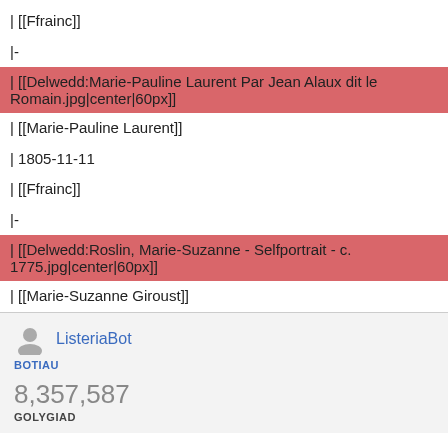| [[Ffrainc]]
|-
| [[Delwedd:Marie-Pauline Laurent Par Jean Alaux dit le Romain.jpg|center|60px]]
| [[Marie-Pauline Laurent]]
| 1805-11-11
| [[Ffrainc]]
|-
| [[Delwedd:Roslin, Marie-Suzanne - Selfportrait - c. 1775.jpg|center|60px]]
| [[Marie-Suzanne Giroust]]
ListeriaBot
BOTIAU
8,357,587
GOLYGIAD